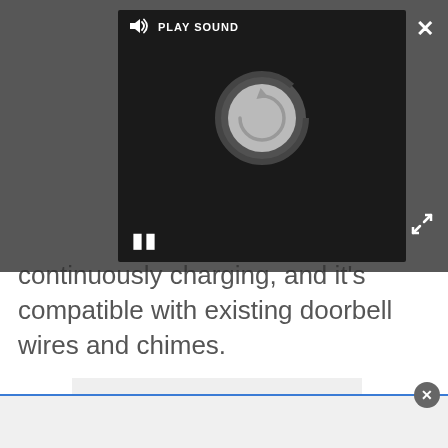[Figure (screenshot): Dark modal overlay with embedded media player showing a spinning/loading circle icon, play sound label, speaker icon, and pause button]
continuously charging, and it's compatible with existing doorbell wires and chimes.
Advertisement
[Figure (other): Light gray advertisement placeholder box]